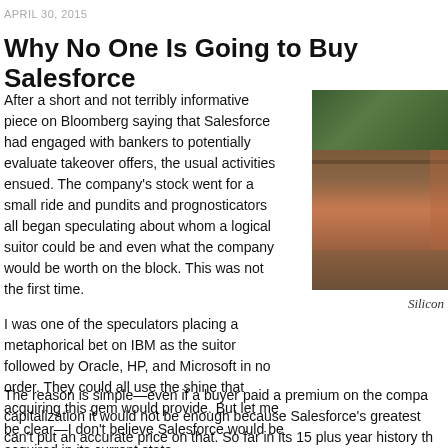APRIL 30, 2015
Why No One Is Going to Buy Salesforce
After a short and not terribly informative piece on Bloomberg saying that Salesforce had engaged with bankers to potentially evaluate takeover offers, the usual activities ensued. The company's stock went for a small ride and pundits and prognosticators all began speculating about whom a logical suitor could be and even what the company would be worth on the block. This was not the first time.
I was one of the speculators placing a metaphorical bet on IBM as the suitor followed by Oracle, HP, and Microsoft in no order. They could all use the shine that acquiring this gem would provide. But let me be clear—I don't believe Salesforce would be acquired in its current state.
[Figure (photo): Outdoor photo showing trees/foliage at top and a wooden structure (fence or building) below, partially cropped on right edge]
Silicon
The reason is simple—even if a buyer paid a premium on the compa capitalization it would not be enough because Salesforce's greatest can't put an accurate price on that. So far in its 15 plus year history th